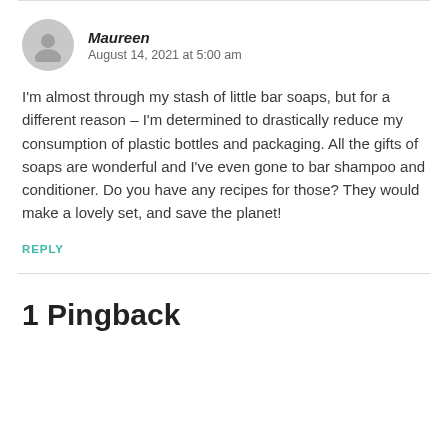Maureen
August 14, 2021 at 5:00 am
I'm almost through my stash of little bar soaps, but for a different reason – I'm determined to drastically reduce my consumption of plastic bottles and packaging. All the gifts of soaps are wonderful and I've even gone to bar shampoo and conditioner. Do you have any recipes for those? They would make a lovely set, and save the planet!
REPLY
1 Pingback